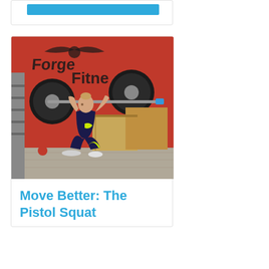[Figure (other): Blue banner/bar element at top of card]
[Figure (photo): Woman performing an overhead squat with a barbell at Forge Fitness gym. Red wall with Forge Fitness logo in background. Athlete is in a deep squat position holding the barbell overhead with both arms extended.]
Move Better: The Pistol Squat